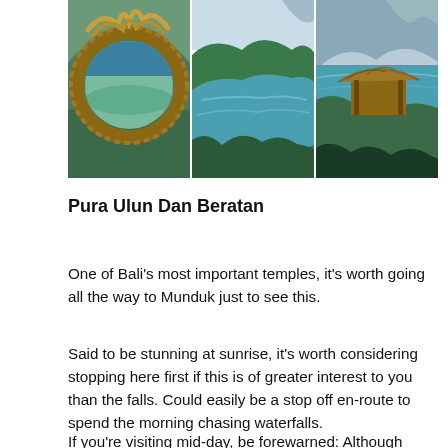[Figure (photo): Three landscape photos side by side: left shows a circular bamboo/thatched frame viewfinder with lake and hills beyond; center shows aerial view of a lake surrounded by green forest and hills; right shows a thatched-roof structure on a hillside overlooking a turquoise lake and mountains.]
Pura Ulun Dan Beratan
One of Bali's most important temples, it's worth going all the way to Munduk just to see this.
Said to be stunning at sunrise, it's worth considering stopping here first if this is of greater interest to you than the falls. Could easily be a stop off en-route to spend the morning chasing waterfalls.
If you're visiting mid-day, be forewarned: Although Munduk is less trafficked than other parts of Bali, this temple is seriously popular. Tour buses come to the region just to stop here.